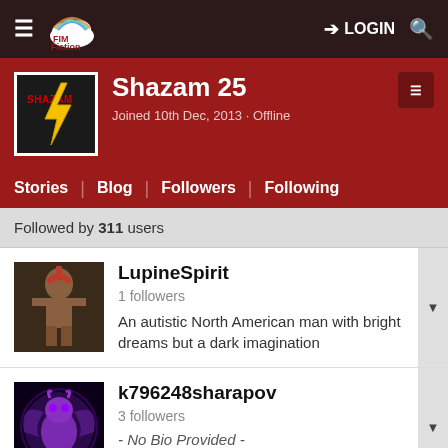FIM Fiction — LOGIN
Shazam 25
Joined 10th Dec, 2013 · Offline
Stories | Blog | Followers | Following
Followed by 311 users
LupineSpirit
1 followers
An autistic North American man with bright dreams but a dark imagination
k796248sharapov
3 followers
- No Bio Provided -